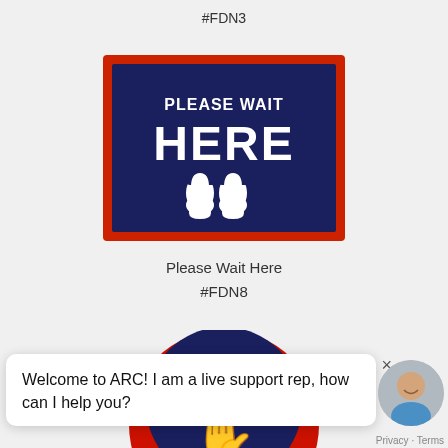#FDN3
[Figure (illustration): A rectangular sign with a dark navy blue interior and red border reading 'PLEASE WAIT HERE' with white footprint icons at the bottom]
Please Wait Here
#FDN8
[Figure (illustration): A circular stop sign with dark navy blue circle, white hand icon, and red band at bottom reading 'STOP' — partially cropped at bottom of page]
×
Welcome to ARC! I am a live support rep, how can I help you?
Privacy · Terms